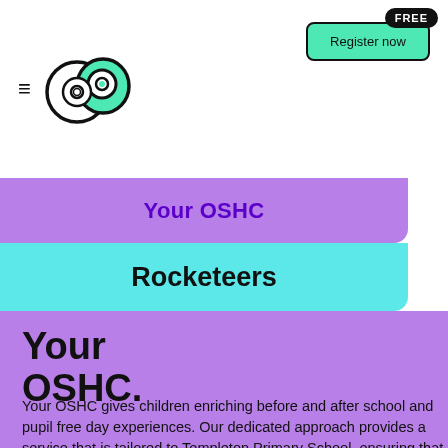[Figure (logo): App logo with two overlapping circles forming a stylized face, teal and white colors with black outline]
[Figure (other): Register now button with FREE badge, teal background, black border, rounded rectangle]
Your OSHC
Rocketeers
Your OSHC.
Your OSHC gives children enriching before and after school and pupil free day experiences. Our dedicated approach provides a service that is tailored to Templeton Primary School, ensuring that the evolving requirements of your child, school and community are